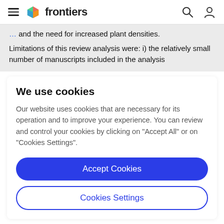frontiers
and the need for increased plant densities.
Limitations of this review analysis were: i) the relatively small number of manuscripts included in the analysis
We use cookies
Our website uses cookies that are necessary for its operation and to improve your experience. You can review and control your cookies by clicking on "Accept All" or on "Cookies Settings".
Accept Cookies
Cookies Settings